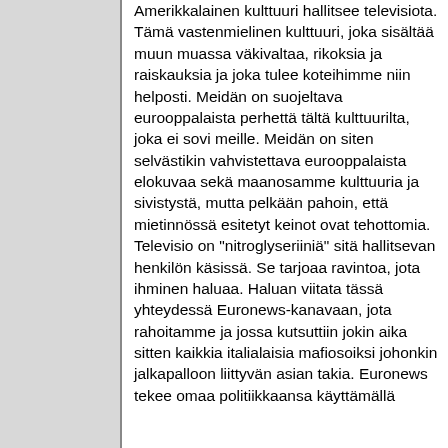Amerikkalainen kulttuuri hallitsee televisiota. Tämä vastenmielinen kulttuuri, joka sisältää muun muassa väkivaltaa, rikoksia ja raiskauksia ja joka tulee koteihimme niin helposti. Meidän on suojeltava eurooppalaista perhettä tältä kulttuurilta, joka ei sovi meille. Meidän on siten selvästikin vahvistettava eurooppalaista elokuvaa sekä maanosamme kulttuuria ja sivistystä, mutta pelkään pahoin, että mietinnössä esitetyt keinot ovat tehottomia. Televisio on "nitroglyseriiniä" sitä hallitsevan henkilön käsissä. Se tarjoaa ravintoa, jota ihminen haluaa. Haluan viitata tässä yhteydessä Euronews-kanavaan, jota rahoitamme ja jossa kutsuttiin jokin aika sitten kaikkia italialaisia mafiosoiksi johonkin jalkapalloon liittyvän asian takia. Euronews tekee omaa politiikkaansa käyttämällä